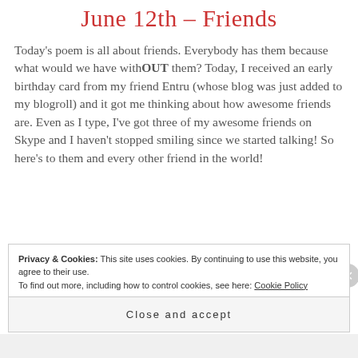June 12th – Friends
Today's poem is all about friends. Everybody has them because what would we have withOUT them? Today, I received an early birthday card from my friend Entru (whose blog was just added to my blogroll) and it got me thinking about how awesome friends are. Even as I type, I've got three of my awesome friends on Skype and I haven't stopped smiling since we started talking! So here's to them and every other friend in the world!
Privacy & Cookies: This site uses cookies. By continuing to use this website, you agree to their use. To find out more, including how to control cookies, see here: Cookie Policy
Close and accept